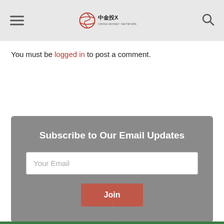China Money Network
You must be logged in to post a comment.
Subscribe to Our Email Updates
.
.
.